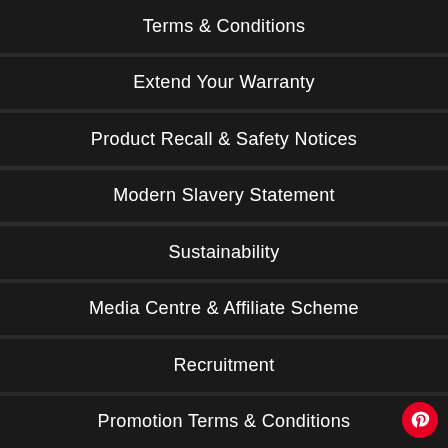Terms & Conditions
Extend Your Warranty
Product Recall & Safety Notices
Modern Slavery Statement
Sustainability
Media Centre & Affiliate Scheme
Recruitment
Promotion Terms & Conditions